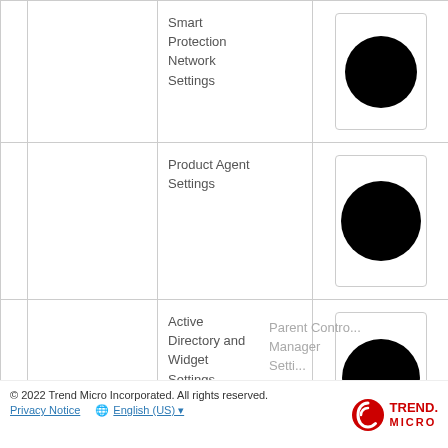|  |  | Setting | Icon |
| --- | --- | --- | --- |
|  |  | Smart Protection Network Settings | [circle icon] |
|  |  | Product Agent Settings | [circle icon] |
|  |  | Active Directory and Widget Settings | [circle icon] |
© 2022 Trend Micro Incorporated. All rights reserved.
Privacy Notice   English (US)
Parent Control Manager Settings